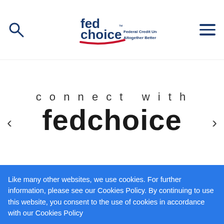[Figure (logo): FedChoice Federal Credit Union logo — 'fed choice' in blue with red swoosh, tagline 'Federal Credit Union Altogether Better']
connect with fedchoice
Like many other websites, we use cookies. For further information, please see our Cookies Policy. By continuing to use this website, you consent to the use of cookies in accordance with our Cookies Policy
Privacy Policy
Got it!